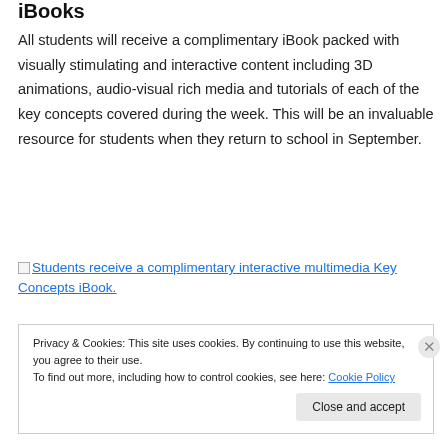iBooks
All students will receive a complimentary iBook packed with visually stimulating and interactive content including 3D animations, audio-visual rich media and tutorials of each of the key concepts covered during the week. This will be an invaluable resource for students when they return to school in September.
[Figure (other): Broken image placeholder with link text: Students receive a complimentary interactive multimedia Key Concepts iBook.]
Privacy & Cookies: This site uses cookies. By continuing to use this website, you agree to their use.
To find out more, including how to control cookies, see here: Cookie Policy
Close and accept